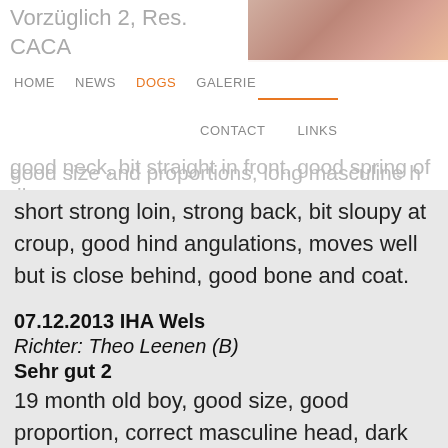Vorzüglich 2, Res. CACA
HOME   NEWS   DOGS   GALERIE
good size and proportions, long masculine head, well shaped, good neck, bit straight in front, good spring of ribs, short strong loin, strong back, bit sloupy at croup, good hind angulations, moves well but is close behind, good bone and coat.
07.12.2013 IHA Wels
Richter: Theo Leenen (B)
Sehr gut 2
19 month old boy, good size, good proportion, correct masculine head, dark eyes, correct scissor bite, well set ears, correct neck shoulder and topline, good tail, well angulated, good bone